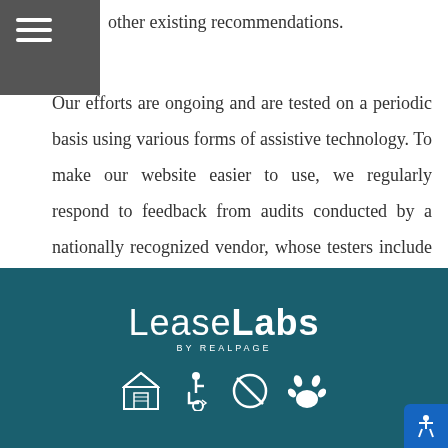other existing recommendations.
Our efforts are ongoing and are tested on a periodic basis using various forms of assistive technology. To make our website easier to use, we regularly respond to feedback from audits conducted by a nationally recognized vendor, whose testers include individuals with disabilities who are regular users of assistive technology.
[Figure (logo): LeaseLabs by RealPage logo in white text on teal background, with four icons below: Equal Housing Opportunity, Wheelchair Accessibility, No Smoking, and Pet-Friendly]